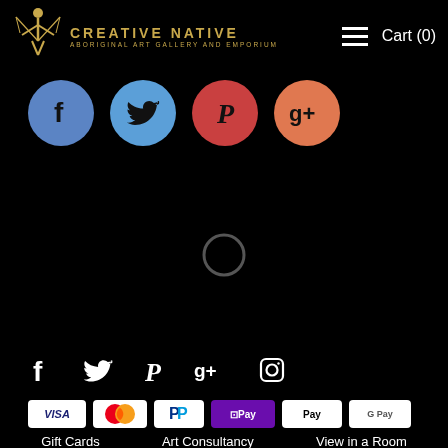Creative Native — Aboriginal Art Gallery and Emporium | Cart (0)
[Figure (logo): Creative Native logo: stylized Aboriginal figure in gold on left, text CREATIVE NATIVE / ABORIGINAL ART GALLERY AND EMPORIUM in gold]
[Figure (infographic): Four social media icon buttons in colored circles: Facebook (blue), Twitter (light blue), Pinterest (red), Google+ (orange)]
[Figure (other): Black loading area with a circular spinner indicator]
[Figure (infographic): Footer social media icons in white: Facebook, Twitter, Pinterest, Google+, Instagram]
[Figure (infographic): Payment method badges: VISA, Mastercard, PayPal, OPay, Apple Pay, Google Pay]
Gift Cards   Art Consultancy   View in a Room